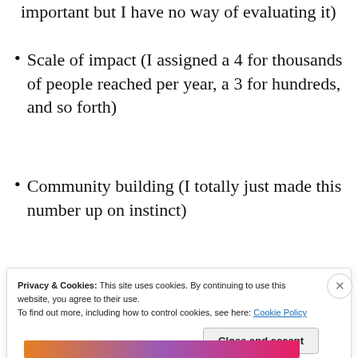important but I have no way of evaluating it)
Scale of impact (I assigned a 4 for thousands of people reached per year, a 3 for hundreds, and so forth)
Community building (I totally just made this number up on instinct)
[Figure (other): Advertisement banner: The only journaling app you'll ever need.]
Privacy & Cookies: This site uses cookies. By continuing to use this website, you agree to their use. To find out more, including how to control cookies, see here: Cookie Policy
Close and accept
[Figure (other): Colorful bottom advertisement strip]